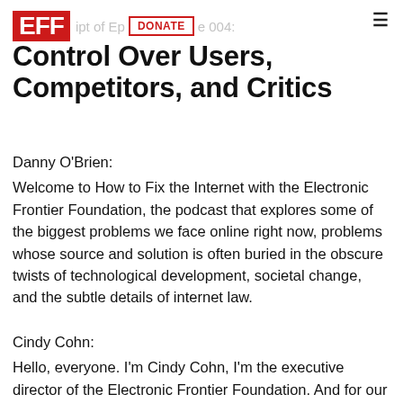EFF | DONATE | ipt of Episode 004: Control Over Users, Competitors, and Critics
Control Over Users, Competitors, and Critics
Danny O'Brien:
Welcome to How to Fix the Internet with the Electronic Frontier Foundation, the podcast that explores some of the biggest problems we face online right now, problems whose source and solution is often buried in the obscure twists of technological development, societal change, and the subtle details of internet law.
Cindy Cohn:
Hello, everyone. I'm Cindy Cohn, I'm the executive director of the Electronic Frontier Foundation. And for our purposes today, I'm also a lawyer.